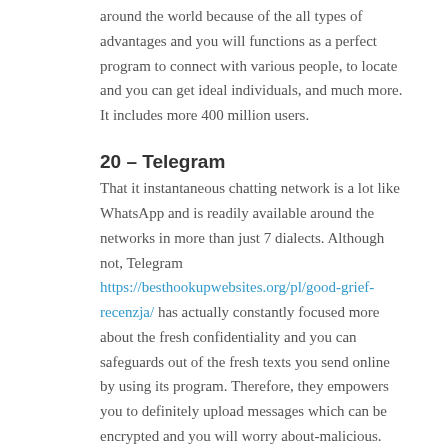around the world because of the all types of advantages and you will functions as a perfect program to connect with various people, to locate and you can get ideal individuals, and much more. It includes more 400 million users.
20 – Telegram
That it instantaneous chatting network is a lot like WhatsApp and is readily available around the networks in more than just 7 dialects. Although not, Telegram https://besthookupwebsites.org/pl/good-grief-recenzja/ has actually constantly focused more about the fresh confidentiality and you can safeguards out of the fresh texts you send online by using its program. Therefore, they empowers you to definitely upload messages which can be encrypted and you will worry about-malicious. That it encryption feature only has merely started offered for WhatsApp, while Telegram possess usually provided it.